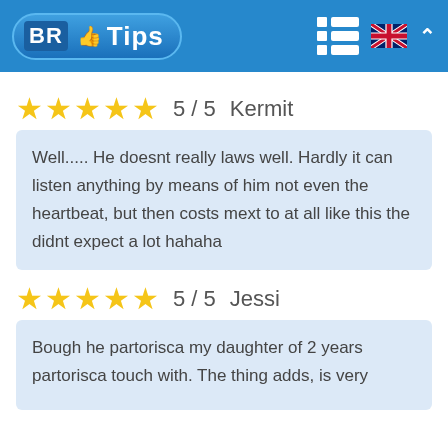[Figure (logo): BR Tips logo with thumbs up icon on blue header bar with grid/list icon, UK flag and caret arrow]
★★★★★  5 / 5   Kermit
Well..... He doesnt really laws well. Hardly it can listen anything by means of him not even the heartbeat, but then costs mext to at all like this the didnt expect a lot hahaha
★★★★★  5 / 5   Jessi
Bough he partorisca my daughter of 2 years partorisca touch with. The thing adds, is very